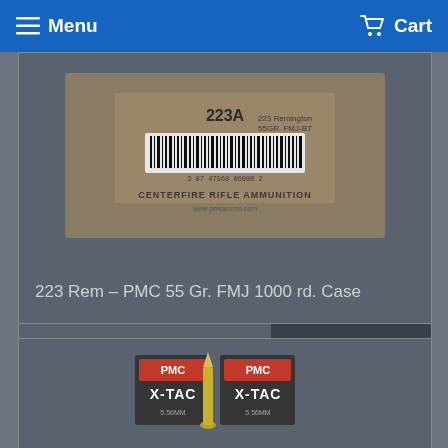Menu | Cart
[Figure (photo): Photo of a cardboard box labeled '223A 223 Remington 55GR. FMJ-BT Centerfire Rifle Ammunition' with barcode, partially visible]
223 Rem – PMC 55 Gr. FMJ 1000 rd. Case
100+ IN STOCK
$459.99
[Figure (photo): Photo of PMC X-TAC ammunition boxes with a rifle cartridge bullet in front, partially visible at bottom of page]